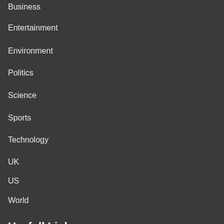Business
Entertainment
Environment
Politics
Science
Sports
Technology
UK
US
World
Usefull Links
DMCA / Copyrights Disclaimer